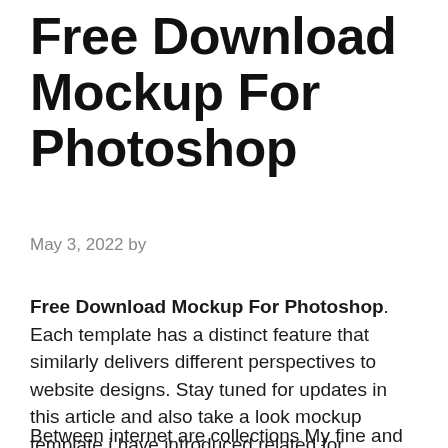Free Download Mockup For Photoshop
May 3, 2022 by
Free Download Mockup For Photoshop. Each template has a distinct feature that similarly delivers different perspectives to website designs. Stay tuned for updates in this article and also take a look mockup template i have introduced related for presenting logo templates.
Between internet are collections My fine and...